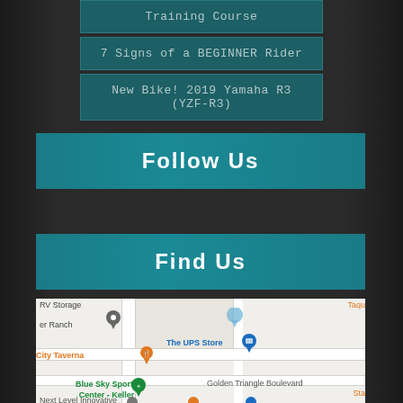Training Course
7 Signs of a BEGINNER Rider
New Bike! 2019 Yamaha R3 (YZF-R3)
Follow Us
Find Us
[Figure (map): Google Maps screenshot showing location near Golden Triangle Boulevard, Keller area, with markers for Blue Sky Sports Center - Keller, The UPS Store, City Taverna, and surrounding streets.]